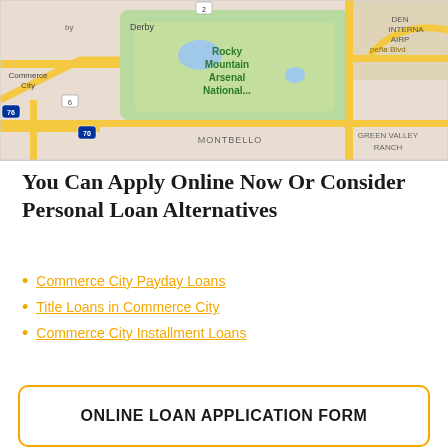[Figure (map): Google Maps view showing Commerce City area, Rocky Mountain Arsenal National Wildlife Refuge, Montbello, Green Valley Ranch, Denver International Airport, and surrounding roads including Peña Blvd.]
You Can Apply Online Now Or Consider Personal Loan Alternatives
Commerce City Payday Loans
Title Loans in Commerce City
Commerce City Installment Loans
ONLINE LOAN APPLICATION FORM